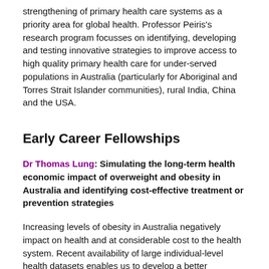strengthening of primary health care systems as a priority area for global health. Professor Peiris's research program focusses on identifying, developing and testing innovative strategies to improve access to high quality primary health care for under-served populations in Australia (particularly for Aboriginal and Torres Strait Islander communities), rural India, China and the USA.
Early Career Fellowships
Dr Thomas Lung: Simulating the long-term health economic impact of overweight and obesity in Australia and identifying cost-effective treatment or prevention strategies
Increasing levels of obesity in Australia negatively impact on health and at considerable cost to the health system. Recent availability of large individual-level health datasets enables us to develop a better understanding of weight gain on the progression of obesity related co-morbidities, mortality and healthcare costs. This fellowship provides much-needed evidence on obesity interventions and its